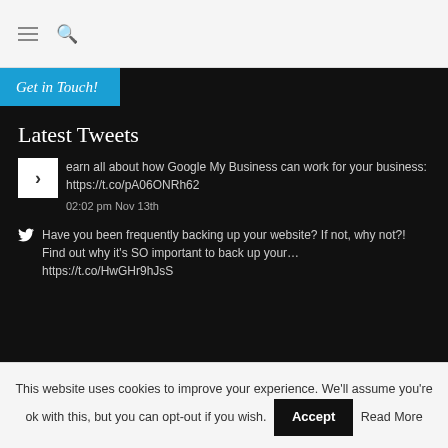≡ 🔍
Get in Touch!
Latest Tweets
Learn all about how Google My Business can work for your business: https://t.co/pA06ONRh62
02:02 pm Nov 13th
Have you been frequently backing up your website? If not, why not?! Find out why it's SO important to back up your… https://t.co/HwGHr9hJsS
This website uses cookies to improve your experience. We'll assume you're ok with this, but you can opt-out if you wish. Accept Read More